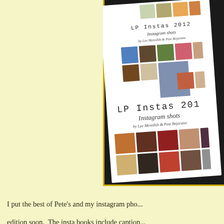[Figure (photo): A photo of a book titled 'LP Instas 2012 Instagram shots by Lee Meredith & Pete Bejarano' showing the book cover with a grid of Instagram photos. The book appears twice in the image — a smaller version at top and a larger angled version below, both showing grids of colorful Instagram-style photos on a white background. The photograph is taken against a dark/black surface.]
I put the best of Pete's and my instagram pho... edition soon.  The insta books include caption... did each year.  And then the other 2 are photo... book we can have on the shelf.  Now that I've... easily, of older trips, and future ones!   (I used...